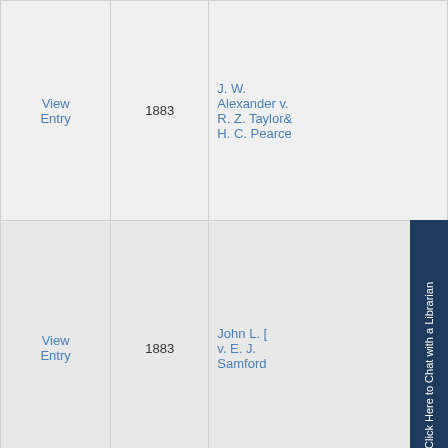|  | Year | Case Name |
| --- | --- | --- |
| View Entry | 1883 | J. W. Alexander v. R. Z. Taylor& H. C. Pearce |
| View Entry | 1883 | John L. [?] v. E. J. Samford |
| View Entry | 1883 | J. K. P. Murfree v. North Ca[rolina] & St. Lou[is] Railroad |